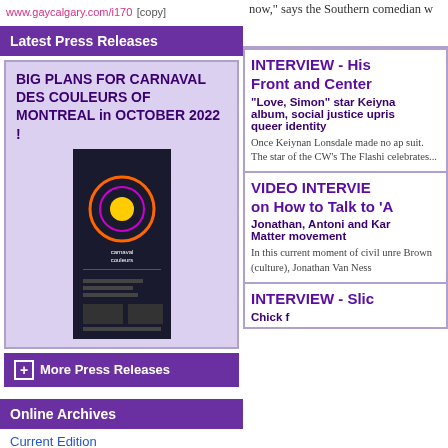www.gaycalgary.com/i170 [copy]
Latest Press Releases
BIG PLANS FOR CARNAVAL DES COULEURS OF MONTREAL in OCTOBER 2022 !
[Figure (photo): Carnaval des Couleurs event poster/flyer]
More Press Releases
Online Archives
Current Edition
now," says the Southern comedian w
INTERVIEW - His Front and Center
“Love, Simon” star Keiyna album, social justice upris queer identity
Once Keiynan Lonsdale made no ap suit. The star of the CW’s The Flashi celebrates...
VIDEO INTERVIE on How to Talk to ‘A
Jonathan, Antoni and Kar Matter movement
In this current moment of civil unre Brown (culture), Jonathan Van Ness
INTERVIEW - Slic